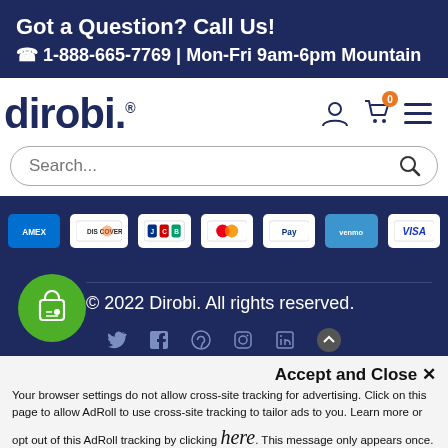Got a Question? Call Us! ☎ 1-888-665-7769 | Mon-Fri 9am-6pm Mountain
[Figure (logo): Dirobi logo with user, cart (0), and menu icons]
Search...
[Figure (infographic): Payment method icons: American Express, Discover, JCB, Mastercard, PayPal, Venmo, Visa]
[Figure (illustration): Green shopping bag bubble icon]
© 2022 Dirobi. All rights reserved.
[Figure (infographic): Social media icons row]
Accept and Close ✕
Your browser settings do not allow cross-site tracking for advertising. Click on this page to allow AdRoll to use cross-site tracking to tailor ads to you. Learn more or opt out of this AdRoll tracking by clicking here. This message only appears once.